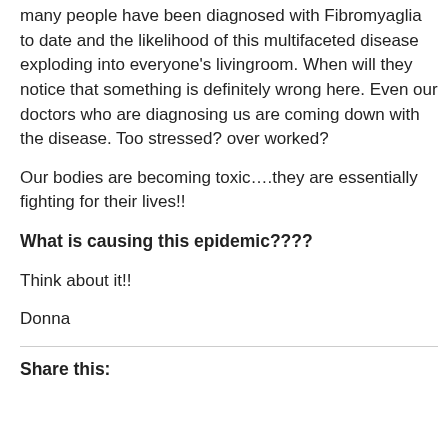many people have been diagnosed with Fibromyaglia to date and the likelihood of this multifaceted disease exploding into everyone's livingroom. When will they notice that something is definitely wrong here. Even our doctors who are diagnosing us are coming down with the disease. Too stressed? over worked?
Our bodies are becoming toxic….they are essentially fighting for their lives!!
What is causing this epidemic????
Think about it!!
Donna
Share this: